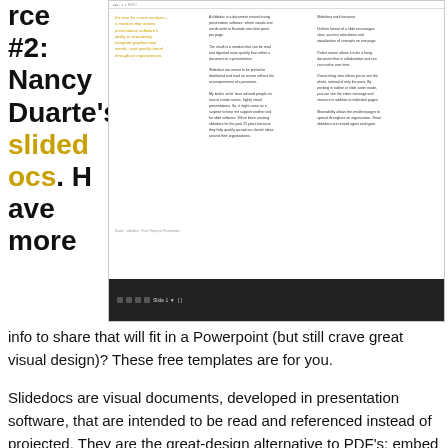rce #2: Nancy Duarte's slidedocs. Have more info to share that will fit in a Powerpoint (but still crave great visual design)? These free templates are for you.
[Figure (screenshot): Screenshot of a Nancy Duarte slidedoc shown in a presentation viewer with a dark toolbar at the bottom. The slide shows three columns of text with yellow italic text in the left column.]
Slidedocs are visual documents, developed in presentation software, that are intended to be read and referenced instead of projected. They are the great-design alternative to PDF's: embed them on your site, like Nancy Duarte does, or email the files. There are three beautiful templates to choose from.